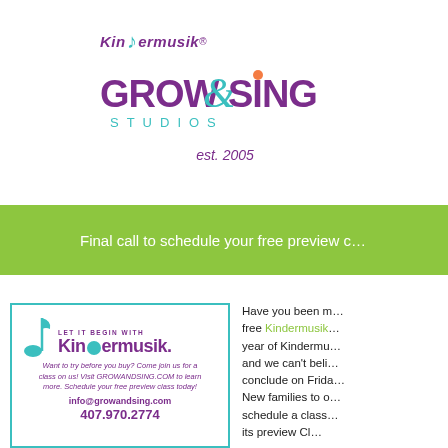[Figure (logo): Kindermusik Grow & Sing Studios logo with musical note, est. 2005]
Final call to schedule your free preview c...
[Figure (illustration): Kindermusik ad: Let it Begin With Kindermusik. Want to try before you buy? Come join us for a class on us! Visit GROWANDSING.COM to learn more. Schedule your free preview class today! info@growandsing.com 407.970.2774]
Have you been m... free Kindermusik... year of Kindermu... and we can't beli... conclude on Frida... New families to o... schedule a class... its preview Cl...